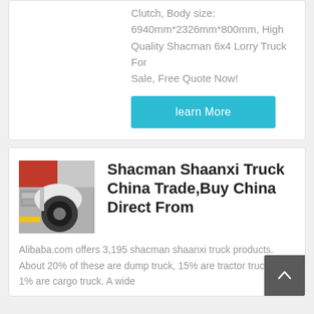Clutch, Body size: 6940mm*2326mm*800mm, High Quality Shacman 6x4 Lorry Truck For Sale, Free Quote Now!
learn More
[Figure (photo): Photo of truck wheel arch / undercarriage area showing tire and mechanical components.]
Shacman Shaanxi Truck China Trade,Buy China Direct From
Alibaba.com offers 3,195 shacman shaanxi truck products. About 20% of these are dump truck, 15% are tractor truck, and 1% are cargo truck. A wide